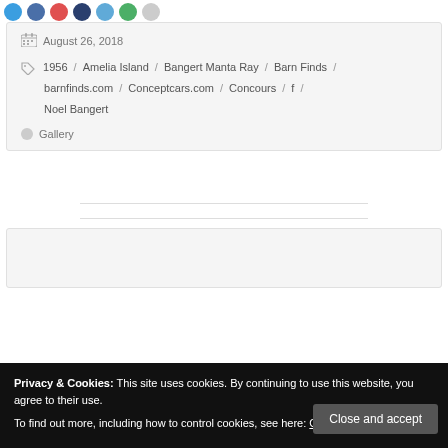[Figure (other): Row of social sharing icon circles at the top of the page (blue, dark blue, red, navy, light blue, green, gray)]
August 26, 2018
1956 / Amelia Island / Bangert Manta Ray / Barn Finds / barnfinds.com / Conceptcars.com / Concours / f / Noel Bangert
Gallery
Privacy & Cookies: This site uses cookies. By continuing to use this website, you agree to their use.
To find out more, including how to control cookies, see here: Cookie Policy
Close and accept